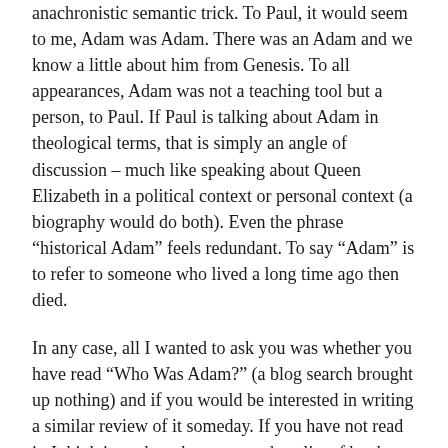anachronistic semantic trick. To Paul, it would seem to me, Adam was Adam. There was an Adam and we know a little about him from Genesis. To all appearances, Adam was not a teaching tool but a person, to Paul. If Paul is talking about Adam in theological terms, that is simply an angle of discussion – much like speaking about Queen Elizabeth in a political context or personal context (a biography would do both). Even the phrase “historical Adam” feels redundant. To say “Adam” is to refer to someone who lived a long time ago then died.
In any case, all I wanted to ask you was whether you have read “Who Was Adam?” (a blog search brought up nothing) and if you would be interested in writing a similar review of it someday. If you have not read it, I think it ought to be on your short list of books to consider for your “personal project of studying the doctrine of creation.” It may be the perfect foil to “Adam and the Genome.”